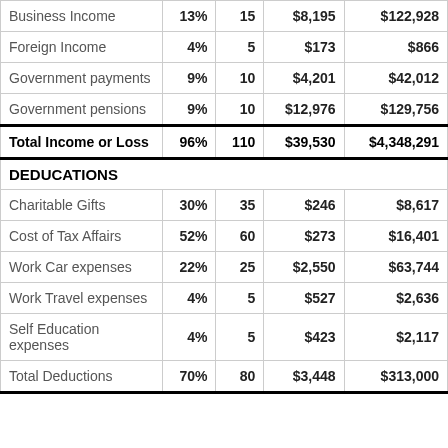|  | % | Count | Average | Total |
| --- | --- | --- | --- | --- |
| Business Income | 13% | 15 | $8,195 | $122,928 |
| Foreign Income | 4% | 5 | $173 | $866 |
| Government payments | 9% | 10 | $4,201 | $42,012 |
| Government pensions | 9% | 10 | $12,976 | $129,756 |
| Total Income or Loss | 96% | 110 | $39,530 | $4,348,291 |
| DEDUCATIONS |  |  |  |  |
| Charitable Gifts | 30% | 35 | $246 | $8,617 |
| Cost of Tax Affairs | 52% | 60 | $273 | $16,401 |
| Work Car expenses | 22% | 25 | $2,550 | $63,744 |
| Work Travel expenses | 4% | 5 | $527 | $2,636 |
| Self Education expenses | 4% | 5 | $423 | $2,117 |
| Total Deductions | 70% | 80 | $3,448 | $313,000 |